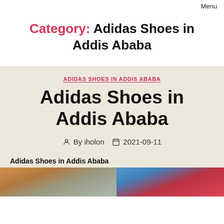Menu
Category: Adidas Shoes in Addis Ababa
ADIDAS SHOES IN ADDIS ABABA
Adidas Shoes in Addis Ababa
By iholon   2021-09-11
Adidas Shoes in Addis Ababa
[Figure (photo): Partial view of Adidas shoes image, split into two sections showing footwear and product detail]